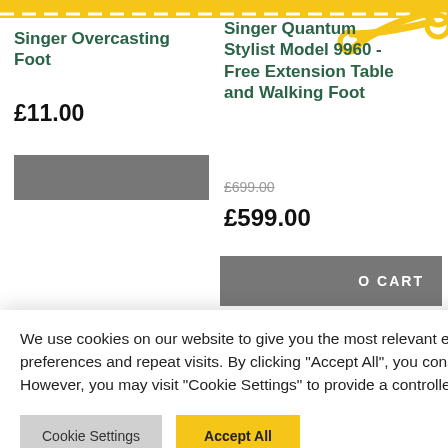Singer Overcasting Foot
£11.00
Singer Quantum Stylist Model 9960 - Free Extension Table and Walking Foot
£699.00 (strikethrough)
£599.00
ADD TO CART
We use cookies on our website to give you the most relevant experience by remembering your preferences and repeat visits. By clicking "Accept All", you consent to the use of ALL the cookies. However, you may visit "Cookie Settings" to provide a controlled consent.
Cookie Settings
Accept All